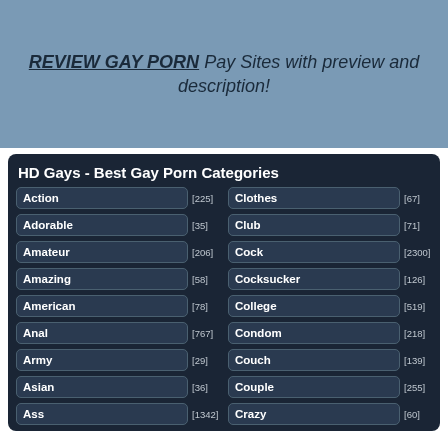REVIEW GAY PORN Pay Sites with preview and description!
HD Gays - Best Gay Porn Categories
| Category | Count | Category | Count |
| --- | --- | --- | --- |
| Action | [225] | Clothes | [67] |
| Adorable | [35] | Club | [71] |
| Amateur | [206] | Cock | [2300] |
| Amazing | [58] | Cocksucker | [126] |
| American | [78] | College | [519] |
| Anal | [767] | Condom | [218] |
| Army | [29] | Couch | [139] |
| Asian | [36] | Couple | [255] |
| Ass | [1342] | Crazy | [60] |